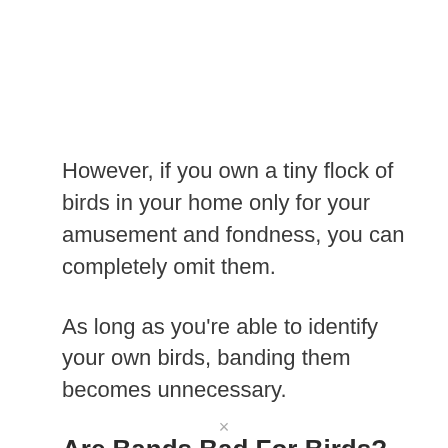However, if you own a tiny flock of birds in your home only for your amusement and fondness, you can completely omit them.
As long as you're able to identify your own birds, banding them becomes unnecessary.
Are Bands Bad For Birds?
Commonly, bands seem harmless and an